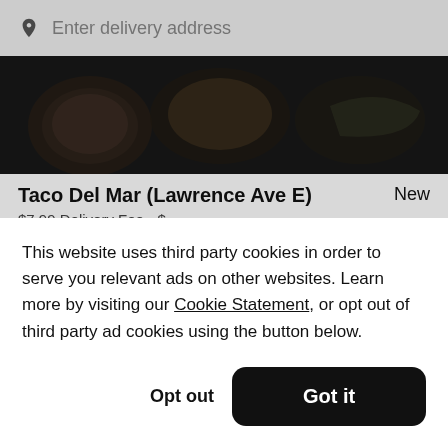Enter delivery address
[Figure (photo): Darkened photo of food items including tacos or bowls, top crop]
Taco Del Mar (Lawrence Ave E)
New
$7.99 Delivery Fee • $
[Figure (photo): Darkened photo of food items, bottom crop]
This website uses third party cookies in order to serve you relevant ads on other websites. Learn more by visiting our Cookie Statement, or opt out of third party ad cookies using the button below.
Opt out
Got it